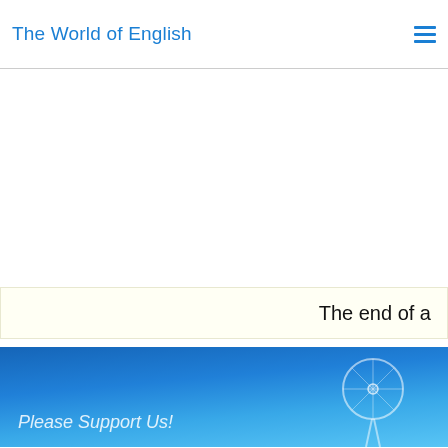The World of English
[Figure (other): Advertisement area (blank white space)]
The end of a
[Figure (photo): Blue sky background with London Eye silhouette and italic text 'Please Support Us!']